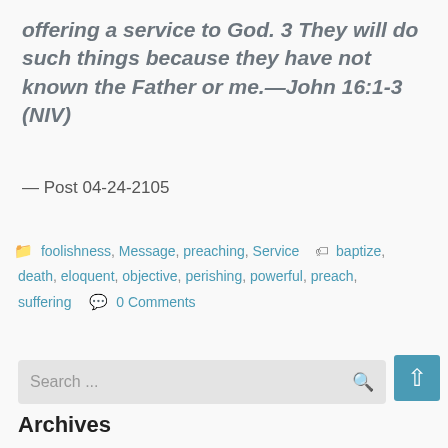offering a service to God. 3 They will do such things because they have not known the Father or me.—John 16:1-3 (NIV)
— Post 04-24-2105
foolishness, Message, preaching, Service   baptize, death, eloquent, objective, perishing, powerful, preach, suffering   0 Comments
Search ...
Archives